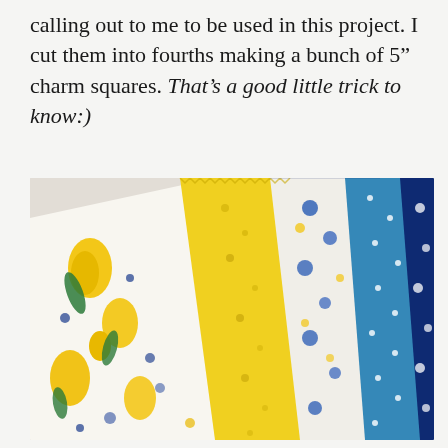calling out to me to be used in this project. I cut them into fourths making a bunch of 5" charm squares. That's a good little trick to know:)
[Figure (photo): A stack of blue and yellow floral fabric charm squares fanned out, showing various patterns including tulips, small flowers, dots, and other floral prints in blue, yellow, green and white.]